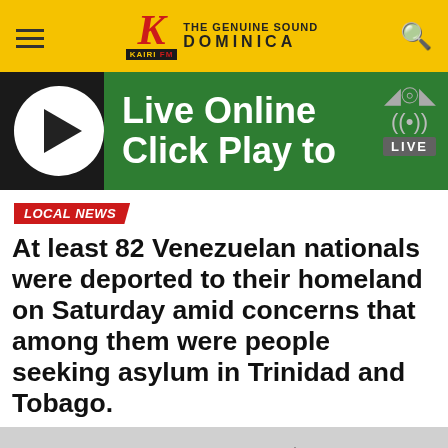KAIRI FM — THE GENUINE SOUND DOMINICA
[Figure (screenshot): Live Online radio player banner with green background, play button circle, and LIVE badge]
LOCAL NEWS
At least 82 Venezuelan nationals were deported to their homeland on Saturday amid concerns that among them were people seeking asylum in Trinidad and Tobago.
[Figure (photo): Airplane on tarmac, partial view showing tail and fuselage against grey sky]